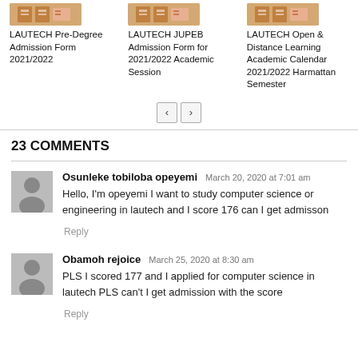LAUTECH Pre-Degree Admission Form 2021/2022
LAUTECH JUPEB Admission Form for 2021/2022 Academic Session
LAUTECH Open & Distance Learning Academic Calendar 2021/2022 Harmattan Semester
23 COMMENTS
Osunleke tobiloba opeyemi
March 20, 2020 at 7:01 am
Hello, I'm opeyemi I want to study computer science or engineering in lautech and I score 176 can I get admisson
Reply
Obamoh rejoice
March 25, 2020 at 8:30 am
PLS I scored 177 and I applied for computer science in lautech PLS can't I get admission with the score
Reply